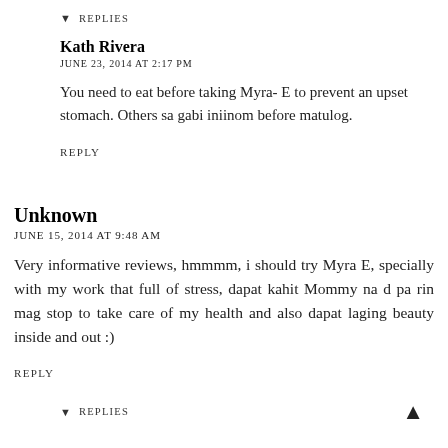▼ REPLIES
Kath Rivera
JUNE 23, 2014 AT 2:17 PM
You need to eat before taking Myra- E to prevent an upset stomach. Others sa gabi iniinom before matulog.
REPLY
Unknown
JUNE 15, 2014 AT 9:48 AM
Very informative reviews, hmmmm, i should try Myra E, specially with my work that full of stress, dapat kahit Mommy na d pa rin mag stop to take care of my health and also dapat laging beauty inside and out :)
REPLY
▼ REPLIES